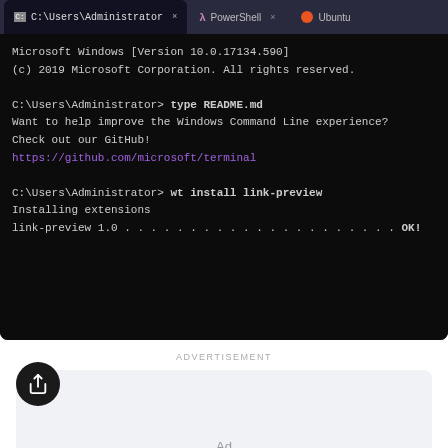[Figure (screenshot): Windows Terminal screenshot showing cmd tab with C:\Users\Administrator active, PowerShell tab, and Ubuntu tab. Terminal shows Microsoft Windows version info, a 'type README.md' command with GitHub link, and 'wt install link-preview' command with installation progress.]
ADVERTISEMENT
[Figure (other): Advertisement placeholder box with 'Ad' label in center]